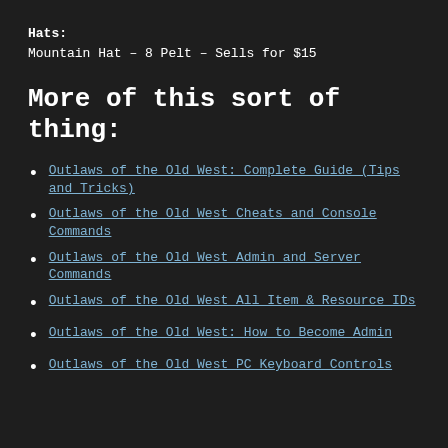Hats:
Mountain Hat – 8 Pelt – Sells for $15
More of this sort of thing:
Outlaws of the Old West: Complete Guide (Tips and Tricks)
Outlaws of the Old West Cheats and Console Commands
Outlaws of the Old West Admin and Server Commands
Outlaws of the Old West All Item & Resource IDs
Outlaws of the Old West: How to Become Admin
Outlaws of the Old West PC Keyboard Controls